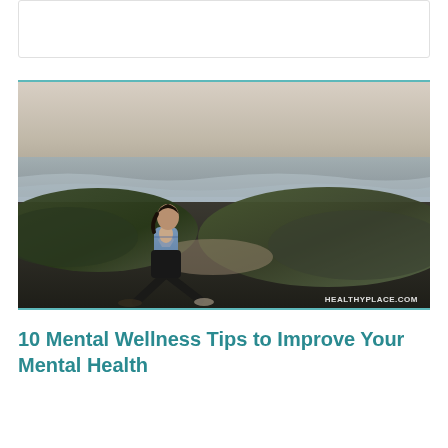[Figure (photo): A woman in athletic wear (blue sleeveless top, black pants) performing a yoga warrior pose with hands pressed together at chest, standing on rocky coastal terrain with green algae-covered rocks and ocean waves in the background. Watermark reads HEALTHYPLACE.COM in the bottom right corner.]
10 Mental Wellness Tips to Improve Your Mental Health